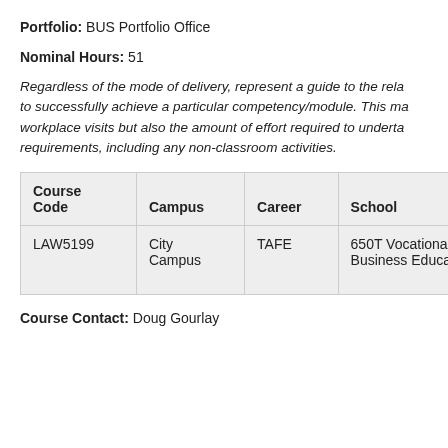Portfolio: BUS Portfolio Office
Nominal Hours: 51
Regardless of the mode of delivery, represent a guide to the relative effort required to successfully achieve a particular competency/module. This may include not only workplace visits but also the amount of effort required to undertake, implement and review requirements, including any non-classroom activities.
| Course Code | Campus | Career | School | Lear... |
| --- | --- | --- | --- | --- |
| LAW5199 | City Campus | TAFE | 650T Vocational Business Education | Dista... Face-... Work... |
Course Contact: Doug Gourlay